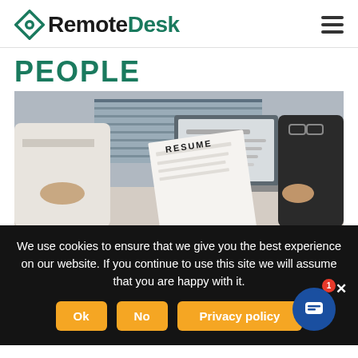RemoteDesk
PEOPLE
[Figure (photo): Two people at a desk in an interview/meeting setting. One person holds a document labeled RESUME, and a laptop screen is visible in the background.]
We use cookies to ensure that we give you the best experience on our website. If you continue to use this site we will assume that you are happy with it.
Ok  No  Privacy policy